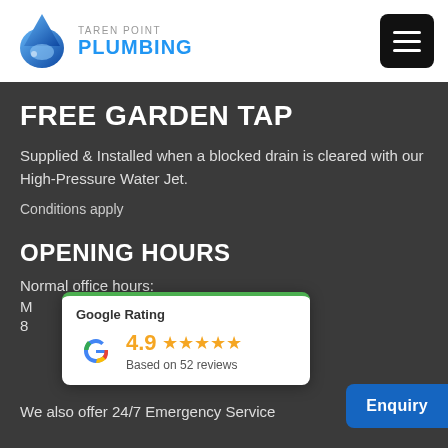[Figure (logo): Taren Point Plumbing logo with blue water drop and company name]
FREE GARDEN TAP
Supplied & Installed when a blocked drain is cleared with our High-Pressure Water Jet.
Conditions apply
OPENING HOURS
Normal office hours:
M[on-Fri]
8[am - 5pm]
We also offer 24/7 Emergency Service
[Figure (infographic): Google Rating card showing 4.9 stars based on 52 reviews]